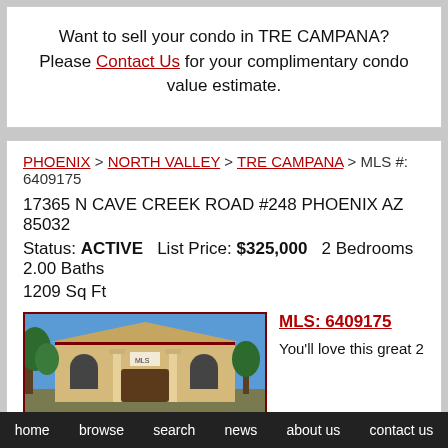Want to sell your condo in TRE CAMPANA? Please Contact Us for your complimentary condo value estimate.
PHOENIX > NORTH VALLEY > TRE CAMPANA > MLS #: 6409175
17365 N CAVE CREEK ROAD #248 PHOENIX AZ 85032
Status: ACTIVE    List Price: $325,000    2 Bedrooms    2.00 Baths
1209 Sq Ft
[Figure (photo): Exterior photo of a tan/beige stucco condo building with arched windows, columns at entrance, dark trim, and a blue sky with trees in background.]
MLS: 6409175
You'll love this great 2
home   browse   search   news   about us   contact us